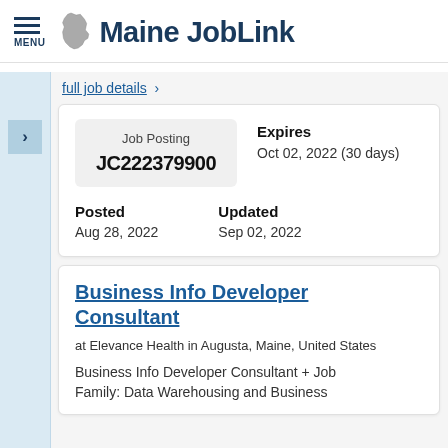MENU — Maine JobLink
full job details >
Job Posting JC222379900 | Expires Oct 02, 2022 (30 days) | Posted Aug 28, 2022 | Updated Sep 02, 2022
Business Info Developer Consultant
at Elevance Health in Augusta, Maine, United States
Business Info Developer Consultant + Job Family: Data Warehousing and Business